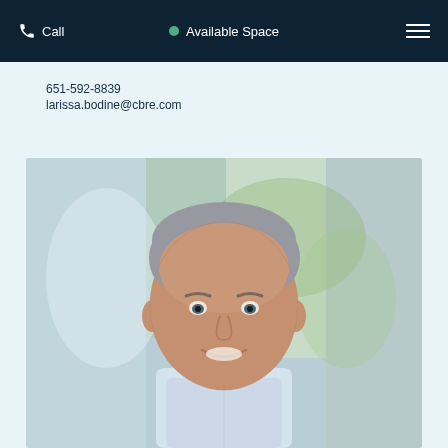Call   Available Space
651-592-8839
larissa.bodine@cbre.com
[Figure (photo): Professional headshot of a middle-aged man with short grey hair, smiling, wearing a light blue collared shirt, with a blurred outdoor background.]